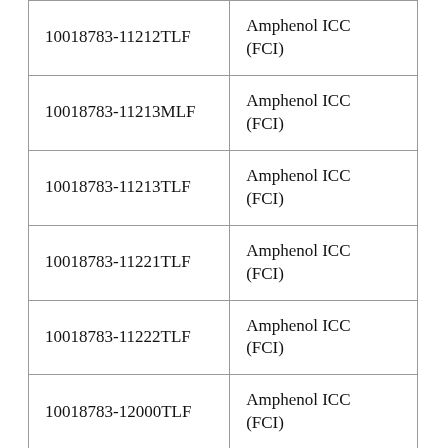| 10018783-11212TLF | Amphenol ICC (FCI) |
| 10018783-11213MLF | Amphenol ICC (FCI) |
| 10018783-11213TLF | Amphenol ICC (FCI) |
| 10018783-11221TLF | Amphenol ICC (FCI) |
| 10018783-11222TLF | Amphenol ICC (FCI) |
| 10018783-12000TLF | Amphenol ICC (FCI) |
| 10018783-12003TLF | Amphenol ICC (FCI) |
| 10018783-12012TLF | Amphenol ICC (FCI) |
|  | Amphenol ICC |